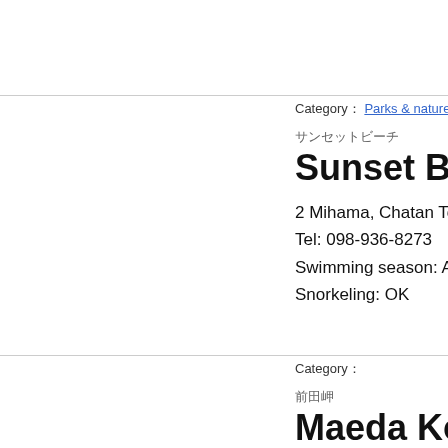Category： Parks & nature at
サンセットビーチ
Sunset Beach
2 Mihama, Chatan Tow
Tel: 098-936-8273
Swimming season: Apr
Snorkeling: OK
Category：
前田岬
Maeda Kochi
The ruins of Urasoe Ca